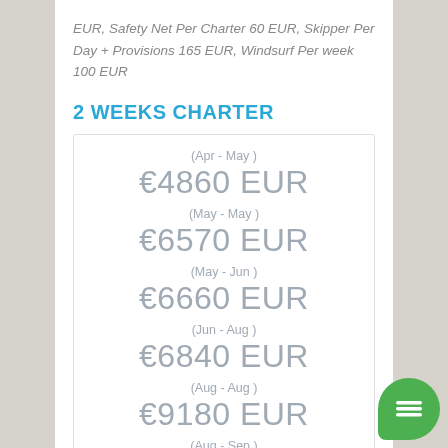EUR, Safety Net Per Charter 60 EUR, Skipper Per Day + Provisions 165 EUR, Windsurf Per week 100 EUR
2 WEEKS CHARTER
| Period | Price |
| --- | --- |
| (Apr - May ) | €4860 EUR |
| (May - May ) | €6570 EUR |
| (May - Jun ) | €6660 EUR |
| (Jun - Aug ) | €6840 EUR |
| (Aug - Aug ) | €9180 EUR |
| (Aug - Sep ) | €6840 EUR |